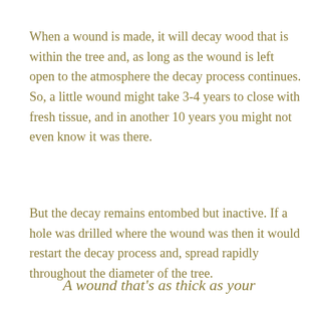When a wound is made, it will decay wood that is within the tree and, as long as the wound is left open to the atmosphere the decay process continues. So, a little wound might take 3-4 years to close with fresh tissue, and in another 10 years you might not even know it was there.
But the decay remains entombed but inactive. If a hole was drilled where the wound was then it would restart the decay process and, spread rapidly throughout the diameter of the tree.
A wound that's as thick as your